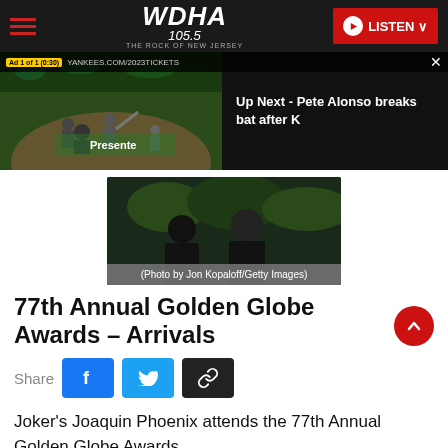WDHA 105.5 THE ROCK OF NEW JERSEY – LISTEN
[Figure (screenshot): Video player showing baseball game ad with 'Ad 1 of 1 (0:30)' label, YANKEES.COM/2023TICKETS banner, and 'Up Next - Pete Alonso breaks bat after K' panel on right]
[Figure (photo): Photo of Golden Globe Awards arrivals with overlay caption '(Photo by Jon Kopaloff/Getty Images)']
77th Annual Golden Globe Awards – Arrivals
Share
Joker's Joaquin Phoenix attends the 77th Annual Golden Globe Awards.